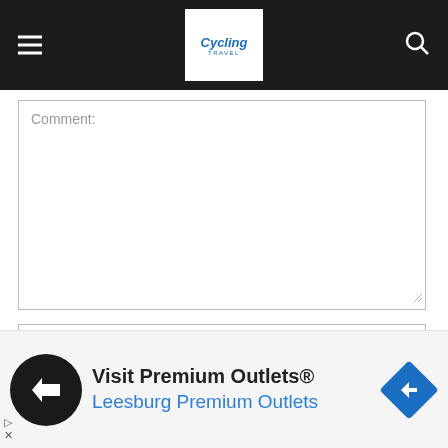Cycling Travel — navigation header with logo
Comment:
Name:
Email:
[Figure (infographic): Advertisement banner: Visit Premium Outlets® — Leesburg Premium Outlets, with black circular logo and blue diamond direction sign]